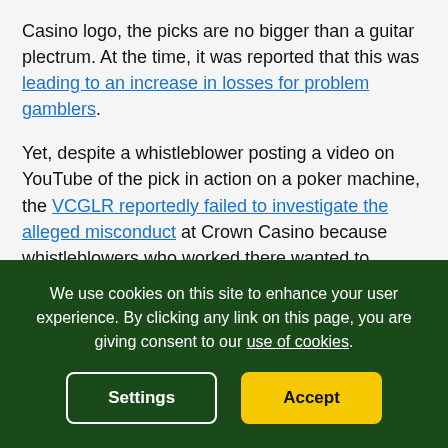Casino logo, the picks are no bigger than a guitar plectrum. At the time, it was reported that this was leading to an increase in losses for problem gamblers.
Yet, despite a whistleblower posting a video on YouTube of the pick in action on a poker machine, the VCGLR reportedly failed to investigate the alleged misconduct at Crown Casino because whistleblowers who worked there wanted to remain anonymous, reports ABC News.
Independent MP Andrew Wilkie, the man responsible for using parliament to highlight the allegations of misconduct at the casino last year, explained that he was
We use cookies on this site to enhance your user experience. By clicking any link on this page, you are giving consent to our use of cookies.